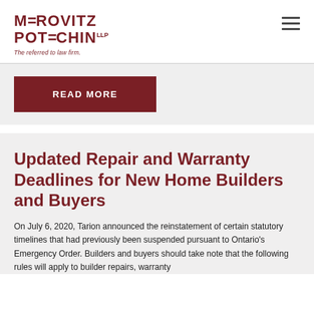MEROVITZ POTECHIN LLP — The referred to law firm.
READ MORE
Updated Repair and Warranty Deadlines for New Home Builders and Buyers
On July 6, 2020, Tarion announced the reinstatement of certain statutory timelines that had previously been suspended pursuant to Ontario's Emergency Order. Builders and buyers should take note that the following rules will apply to builder repairs, warranty